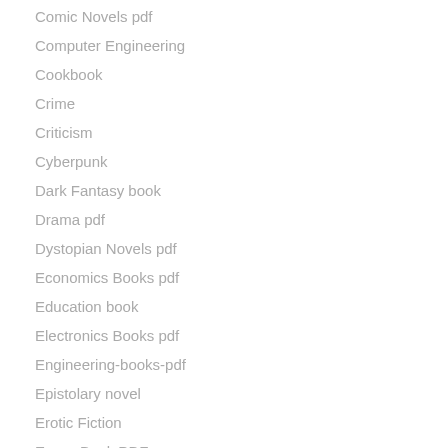Comic Novels pdf
Computer Engineering
Cookbook
Crime
Criticism
Cyberpunk
Dark Fantasy book
Drama pdf
Dystopian Novels pdf
Economics Books pdf
Education book
Electronics Books pdf
Engineering-books-pdf
Epistolary novel
Erotic Fiction
Essay Book PDF